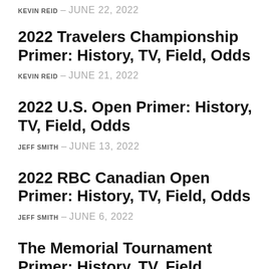KEVIN REID – JUNE 22, 2022
2022 Travelers Championship Primer: History, TV, Field, Odds
KEVIN REID – JUNE 21, 2022
2022 U.S. Open Primer: History, TV, Field, Odds
JEFF SMITH – JUNE 13, 2022
2022 RBC Canadian Open Primer: History, TV, Field, Odds
JEFF SMITH – JUNE 6, 2022
The Memorial Tournament Primer: History, TV, Field